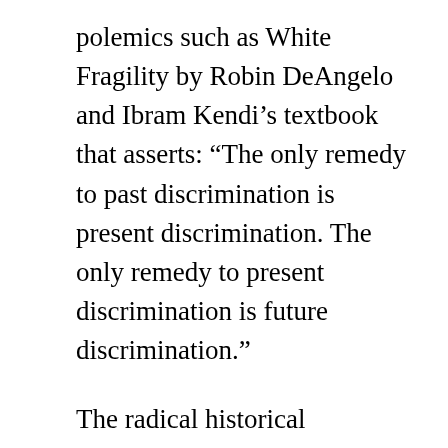polemics such as White Fragility by Robin DeAngelo and Ibram Kendi's textbook that asserts: “The only remedy to past discrimination is present discrimination. The only remedy to present discrimination is future discrimination.”
The radical historical revisionism of the New York Times’ 1619 Project also features prominently in Illinois civics materials, and Shawn Healy, who is a leading figure behind the Illinois civics law and Senior Director of Policy and Advocacy at the leftwing group iCivics, says that parents who do not want their children to be indoctrinated with critical race theory should be refuted by teachers relying on “highly reputable sources” such as the 1619 Project. Healy maintains this position even though the 1619 Project has been roundly rejected as a